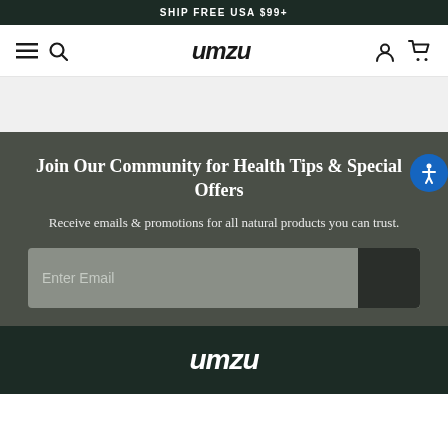SHIP FREE USA $99+
umzu
Join Our Community for Health Tips & Special Offers
Receive emails & promotions for all natural products you can trust.
Enter Email
umzu